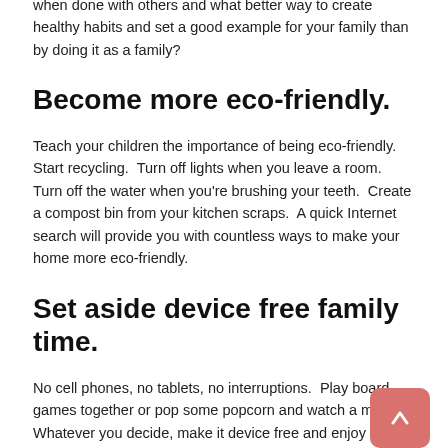when done with others and what better way to create healthy habits and set a good example for your family than by doing it as a family?
Become more eco-friendly.
Teach your children the importance of being eco-friendly. Start recycling.  Turn off lights when you leave a room.  Turn off the water when you're brushing your teeth.  Create a compost bin from your kitchen scraps.  A quick Internet search will provide you with countless ways to make your home more eco-friendly.
Set aside device free family time.
No cell phones, no tablets, no interruptions.  Play board games together or pop some popcorn and watch a movie.  Whatever you decide, make it device free and enjoy the time spent together without outside interruptions.
Have family meals.